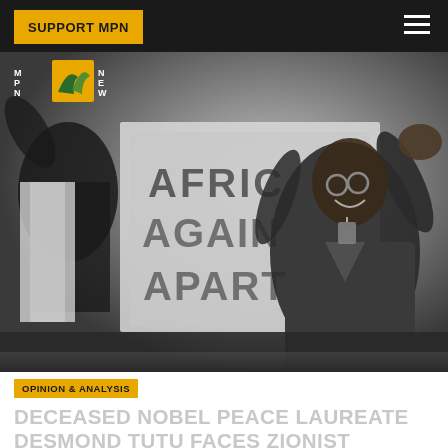SUPPORT MPN
[Figure (photo): Black and white photograph of Desmond Tutu waving with raised hands, smiling, wearing a suit with a lanyard, standing in front of a protest banner reading 'AFRICA AGAINST APARTHEID']
OPINION & ANALYSIS
DECEASED NOBEL PEACE LAUREATE DESMOND TUTU FACES ZIONIST REPUTATIONAL FIRING